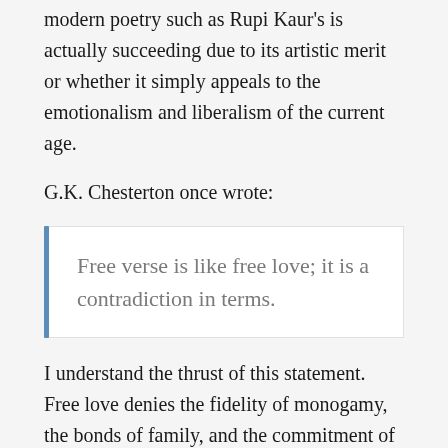modern poetry such as Rupi Kaur's is actually succeeding due to its artistic merit or whether it simply appeals to the emotionalism and liberalism of the current age.
G.K. Chesterton once wrote:
Free verse is like free love; it is a contradiction in terms.
I understand the thrust of this statement. Free love denies the fidelity of monogamy, the bonds of family, and the commitment of